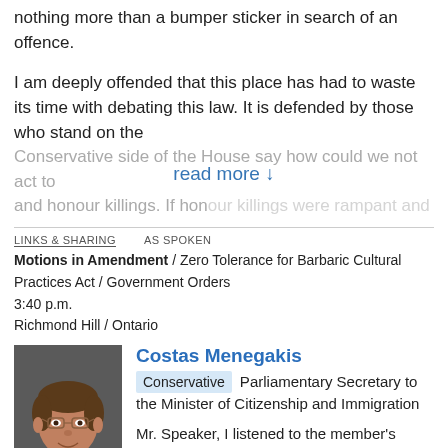nothing more than a bumper sticker in search of an offence.
I am deeply offended that this place has had to waste its time with debating this law. It is defended by those who stand on the Conservative side of the House say how could we not act to and honour killings. If honour killings were rampant and
read more ↓
LINKS & SHARING    AS SPOKEN
Motions in Amendment / Zero Tolerance for Barbaric Cultural Practices Act / Government Orders
3:40 p.m.
Richmond Hill / Ontario
Costas Menegakis
Conservative Parliamentary Secretary to the Minister of Citizenship and Immigration
Mr. Speaker, I listened to the member's rampage against this particular piece of legislation. I did not heckle when she was speaking and I would appreciate it if she did not while I am responding to or asking a question on her dissertation.